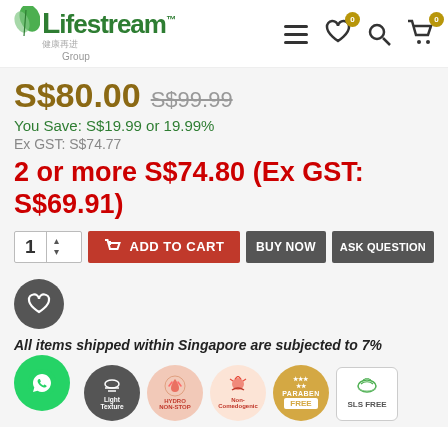Lifestream Group - navigation header with menu, wishlist, search, and cart icons
S$80.00 S$99.99
You Save: S$19.99 or 19.99%
Ex GST: S$74.77
2 or more S$74.80 (Ex GST: S$69.91)
[Figure (screenshot): Add to cart row with quantity selector (1), red ADD TO CART button, grey BUY NOW button, grey ASK QUESTION button]
[Figure (illustration): Heart wishlist circular dark grey button]
All items shipped within Singapore are subjected to 7%
[Figure (infographic): Badge icons: WhatsApp button (green circle), Light Texture badge (dark circle), HYDRO NON-STOP badge, Non-Comedogenic badge, PARABEN FREE badge, SLS FREE badge]